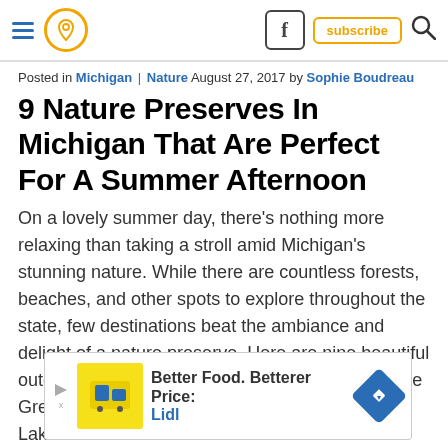Navigation bar with hamburger menu, pin icon, Facebook icon, subscribe button, search icon
Posted in Michigan | Nature August 27, 2017 by Sophie Boudreau
9 Nature Preserves In Michigan That Are Perfect For A Summer Afternoon
On a lovely summer day, there’s nothing more relaxing than taking a stroll amid Michigan’s stunning nature. While there are countless forests, beaches, and other spots to explore throughout the state, few destinations beat the ambiance and delight of a nature preserve. Here are nine beautiful outdoor locales that you simply must explore in the Great Lakes S
[Figure (other): Advertisement banner: Better Food. Betterer Price: Lidl]